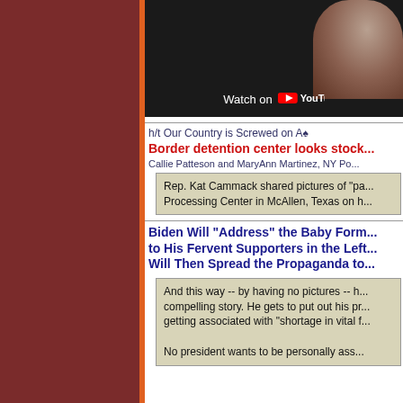[Figure (screenshot): YouTube video thumbnail showing a person, with 'Watch on YouTube' overlay text at bottom]
h/t Our Country is Screwed on A♠
Border detention center looks stock...
Callie Patteson and MaryAnn Martinez, NY Po...
Rep. Kat Cammack shared pictures of "pa... Processing Center in McAllen, Texas on h...
Biden Will "Address" the Baby Form... to His Fervent Supporters in the Left... Will Then Spread the Propaganda to...
And this way -- by having no pictures -- h... compelling story. He gets to put out his pr... getting associated with "shortage in vital f...

No president wants to be personally ass...